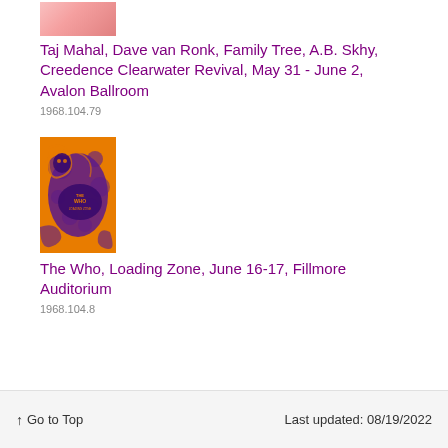[Figure (photo): Small thumbnail image of a concert poster, partially visible, pinkish/reddish tones]
Taj Mahal, Dave van Ronk, Family Tree, A.B. Skhy, Creedence Clearwater Revival, May 31 - June 2, Avalon Ballroom
1968.104.79
[Figure (photo): Concert poster with orange background and purple psychedelic illustration for a show at Fillmore Auditorium]
The Who, Loading Zone, June 16-17, Fillmore Auditorium
1968.104.8
↑ Go to Top   Last updated: 08/19/2022